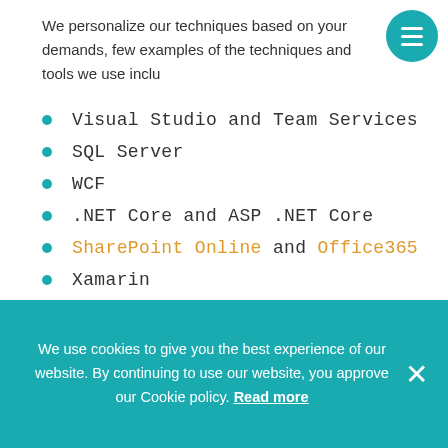We personalize our techniques based on your demands, few examples of the techniques and tools we use include
Visual Studio and Team Services
SQL Server
WCF
.NET Core and ASP .NET Core
SharePoint Online and Office365
Xamarin
Microsoft Azure
Etc
We use cookies to give you the best experience of our website. By continuing to use our website, you approve our Cookie policy. Read more